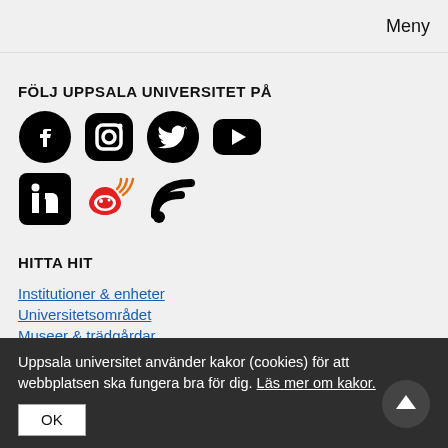Meny
FÖLJ UPPSALA UNIVERSITET PÅ
[Figure (illustration): Social media icons: Facebook, Instagram, Twitter, YouTube (top row); LinkedIn, Weibo, RSS (bottom row)]
HITTA HIT
Institutioner & enheter
Universitetsområdet
Museer & trädgårdar
Uppsala universitet använder kakor (cookies) för att webbplatsen ska fungera bra för dig. Läs mer om kakor.
OK